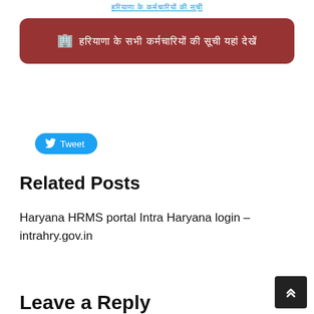हरियाणा के कर्मचारियों की सूची
[Figure (other): Red rounded box with Hindi text about employee information portal]
[Figure (other): Twitter Tweet button]
Related Posts
Haryana HRMS portal Intra Haryana login – intrahry.gov.in
Leave a Reply